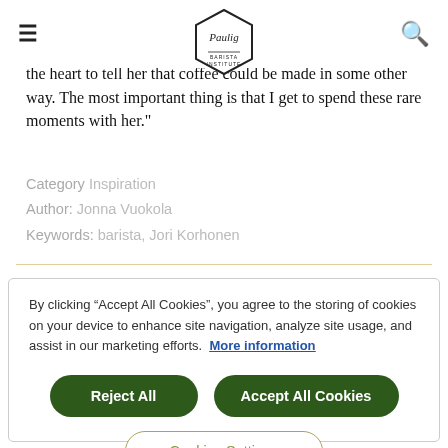Paulig (logo with hamburger menu and search icon)
the heart to tell her that coffee could be made in some other way. The most important thing is that I get to spend these rare moments with her."
Category Inspiration
Author: Jonna Vuokola
Keywords: barista, Jori Korhonen
By clicking “Accept All Cookies”, you agree to the storing of cookies on your device to enhance site navigation, analyze site usage, and assist in our marketing efforts. More information
Reject All
Accept All Cookies
Cookies Settings